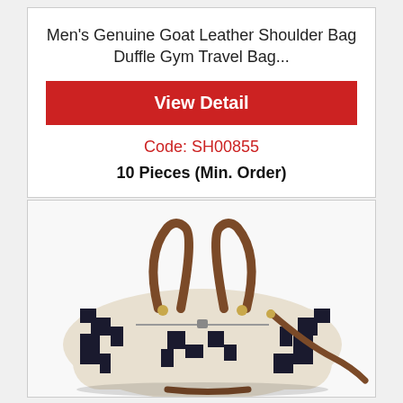Men's Genuine Goat Leather Shoulder Bag Duffle Gym Travel Bag...
View Detail
Code: SH00855
10 Pieces (Min. Order)
[Figure (photo): A duffle/gym travel bag with black and white geometric Aztec pattern body and brown leather handles and straps]